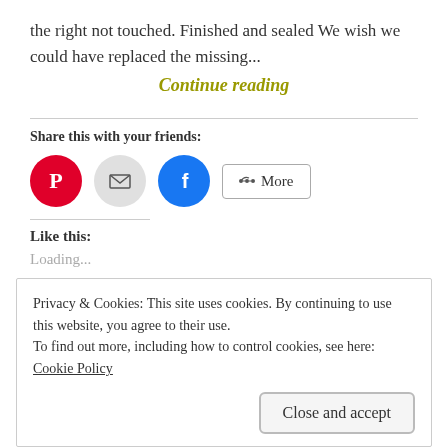the right not touched. Finished and sealed We wish we could have replaced the missing...
Continue reading
Share this with your friends:
[Figure (other): Social share buttons: Pinterest (red circle with P), Email (grey circle with envelope), Facebook (blue circle with f), and a More button with share icon]
Like this:
Loading...
Privacy & Cookies: This site uses cookies. By continuing to use this website, you agree to their use.
To find out more, including how to control cookies, see here: Cookie Policy
Close and accept